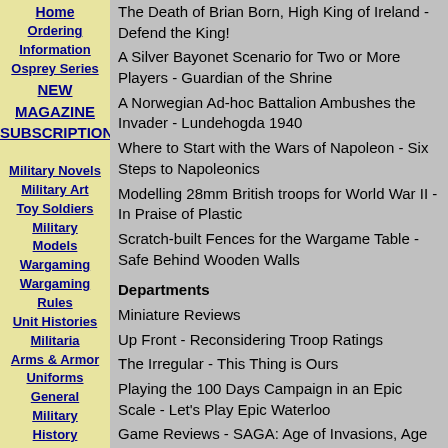Home
Ordering Information
Osprey Series
NEW MAGAZINE SUBSCRIPTIONS
Military Novels
Military Art
Toy Soldiers
Military Models
Wargaming
Wargaming Rules
Unit Histories
Militaria
Arms & Armor
Uniforms
General Military History
Ancients
The Death of Brian Born, High King of Ireland - Defend the King!
A Silver Bayonet Scenario for Two or More Players - Guardian of the Shrine
A Norwegian Ad-hoc Battalion Ambushes the Invader - Lundehogda 1940
Where to Start with the Wars of Napoleon - Six Steps to Napoleonics
Modelling 28mm British troops for World War II - In Praise of Plastic
Scratch-built Fences for the Wargame Table - Safe Behind Wooden Walls
Departments
Miniature Reviews
Up Front - Reconsidering Troop Ratings
The Irregular - This Thing is Ours
Playing the 100 Days Campaign in an Epic Scale - Let's Play Epic Waterloo
Game Reviews - SAGA: Age of Invasions, Age of Panda: Battle Games in Seventh-Century Britain, Forgotten Battles from France and Germany and Wars of the Republic
Book Reviews